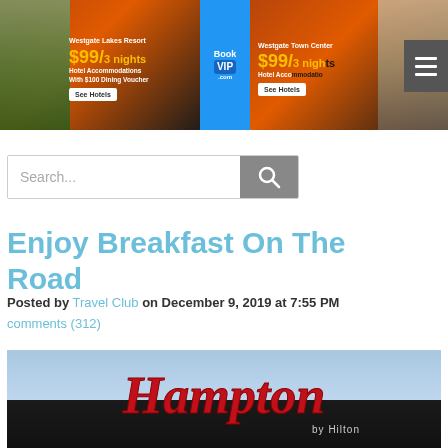[Figure (screenshot): BookVIP hotel banner advertisement showing Westgate Lakes Resort and Westgate Town Center, $99/3 nights hotel accommodations with $100 dining voucher, See Hotels buttons, BookVIP.com logo in center]
[Figure (screenshot): Search bar with placeholder text 'Search...' and magnifying glass search button]
Enjoy Breakfast On The Road
Posted by Travel Club on December 9, 2019 at 7:55 PM
comments (312)
[Figure (photo): Hampton by Hilton hotel sign in red cursive lettering on the exterior of building against blue sky]